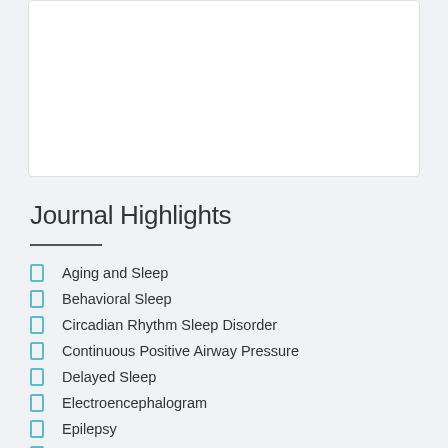[Figure (other): White card/box area at the top of the page, blank content area]
Journal Highlights
Aging and Sleep
Behavioral Sleep
Circadian Rhythm Sleep Disorder
Continuous Positive Airway Pressure
Delayed Sleep
Electroencephalogram
Epilepsy
Hypersomnia